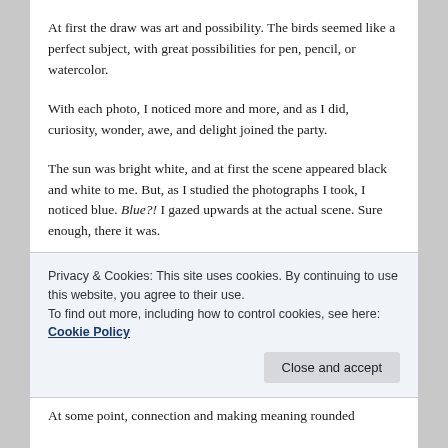At first the draw was art and possibility. The birds seemed like a perfect subject, with great possibilities for pen, pencil, or watercolor.
With each photo, I noticed more and more, and as I did, curiosity, wonder, awe, and delight joined the party.
The sun was bright white, and at first the scene appeared black and white to me. But, as I studied the photographs I took, I noticed blue. Blue?! I gazed upwards at the actual scene. Sure enough, there it was.
I took one more shot, and was gifted with the moon!
Privacy & Cookies: This site uses cookies. By continuing to use this website, you agree to their use.
To find out more, including how to control cookies, see here: Cookie Policy
At some point, connection and making meaning rounded